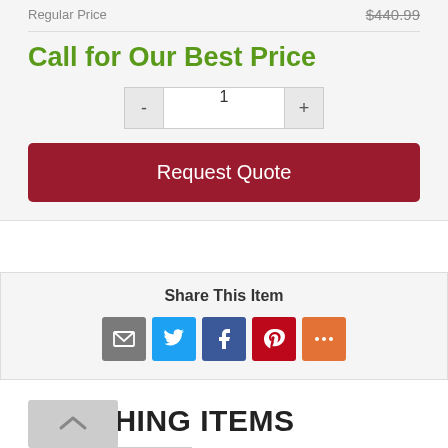Regular Price   $440.99
Call for Our Best Price
- 1 +
Request Quote
Share This Item
[Figure (infographic): Social sharing icons: Email, Twitter, Facebook, Pinterest, More]
MATCHING ITEMS